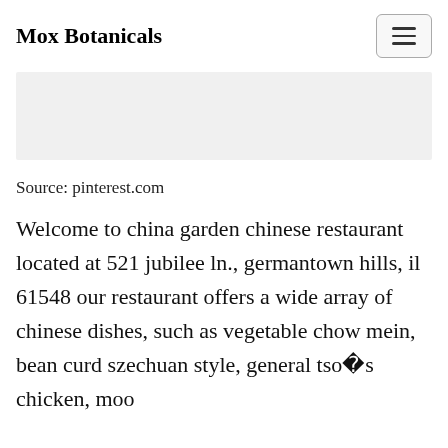Mox Botanicals
[Figure (other): Gray placeholder image banner]
Source: pinterest.com
Welcome to china garden chinese restaurant located at 521 jubilee ln., germantown hills, il 61548 our restaurant offers a wide array of chinese dishes, such as vegetable chow mein, bean curd szechuan style, general tso�s chicken, moo